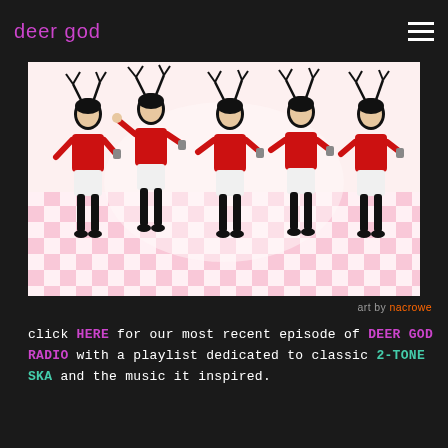deer god
[Figure (illustration): Illustration of five deer-headed female figures wearing red tops and white skirts, dancing against a pink and white checkerboard background]
art by nacrowe
click HERE for our most recent episode of DEER GOD RADIO with a playlist dedicated to classic 2-TONE SKA and the music it inspired.